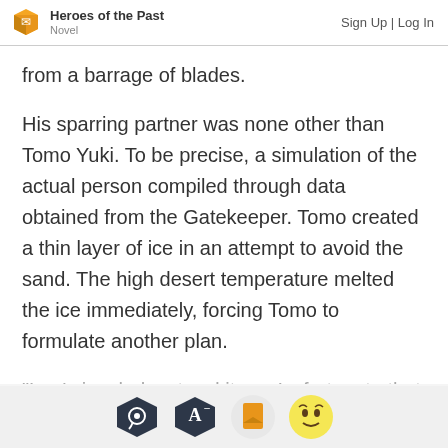Heroes of the Past | Novel | Sign Up | Log In
from a barrage of blades.
His sparring partner was none other than Tomo Yuki. To be precise, a simulation of the actual person compiled through data obtained from the Gatekeeper. Tomo created a thin layer of ice in an attempt to avoid the sand. The high desert temperature melted the ice immediately, forcing Tomo to formulate another plan.
“Lau’s ice, huh… t… d it…n. I…fortunate that
[Figure (other): Mobile app toolbar with four icon buttons: chat bubble, font size, bookmark, and emoji face]